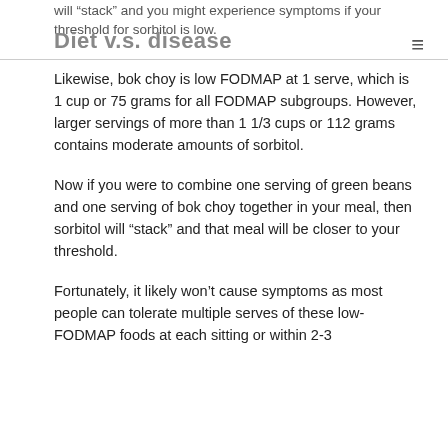will “stack” and you might experience symptoms if your threshold for sorbitol is low. Diet v.s. disease
Likewise, bok choy is low FODMAP at 1 serve, which is 1 cup or 75 grams for all FODMAP subgroups. However, larger servings of more than 1 1/3 cups or 112 grams contains moderate amounts of sorbitol.
Now if you were to combine one serving of green beans and one serving of bok choy together in your meal, then sorbitol will “stack” and that meal will be closer to your threshold.
Fortunately, it likely won’t cause symptoms as most people can tolerate multiple serves of these low-FODMAP foods at each sitting or within 2-3